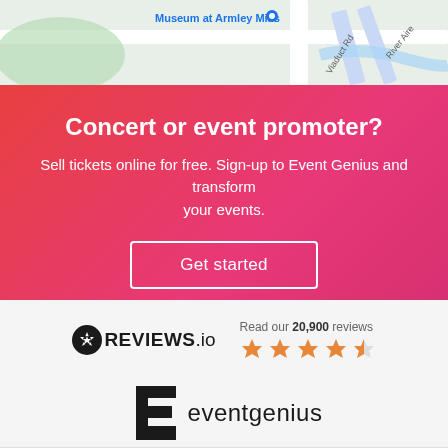[Figure (map): Partial Google Maps view showing Museum at Armley Mills, Viaduct Rd, River Aire]
Concert or event promoter?
Sell tickets online for free. Sign-up to Event Genius and transform your events.
Get started
[Figure (logo): REVIEWS.io logo with star rating badge showing 4.5 stars and text 'Read our 20,900 reviews']
[Figure (logo): Event Genius logo with stylized E icon and text 'eventgenius']